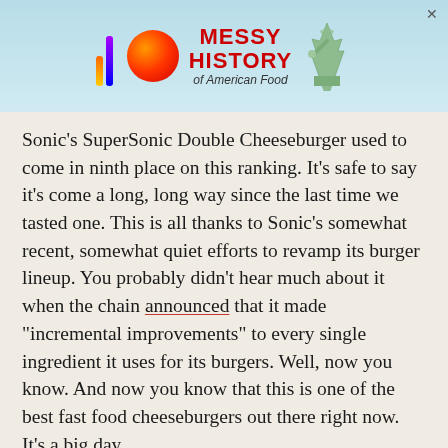[Figure (illustration): Advertisement banner for 'Messy History of American Food' featuring colorful logo bars, an orange sphere, stylized red text, and Statue of Liberty graphic on a light blue background.]
Sonic's SuperSonic Double Cheeseburger used to come in ninth place on this ranking. It's safe to say it's come a long, long way since the last time we tasted one. This is all thanks to Sonic's somewhat recent, somewhat quiet efforts to revamp its burger lineup. You probably didn't hear much about it when the chain announced that it made "incremental improvements" to every single ingredient it uses for its burgers. Well, now you know. And now you know that this is one of the best fast food cheeseburgers out there right now. It's a big day.
We tasted the difference right off the bat, with the